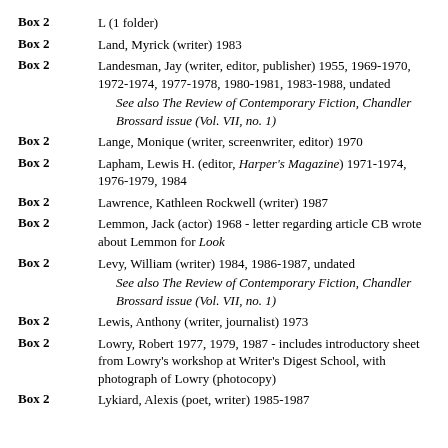Box 2 | L (1 folder)
Box 2 | Land, Myrick (writer) 1983
Box 2 | Landesman, Jay (writer, editor, publisher) 1955, 1969-1970, 1972-1974, 1977-1978, 1980-1981, 1983-1988, undated
See also The Review of Contemporary Fiction, Chandler Brossard issue (Vol. VII, no. 1)
Box 2 | Lange, Monique (writer, screenwriter, editor) 1970
Box 2 | Lapham, Lewis H. (editor, Harper's Magazine) 1971-1974, 1976-1979, 1984
Box 2 | Lawrence, Kathleen Rockwell (writer) 1987
Box 2 | Lemmon, Jack (actor) 1968 - letter regarding article CB wrote about Lemmon for Look
Box 2 | Levy, William (writer) 1984, 1986-1987, undated
See also The Review of Contemporary Fiction, Chandler Brossard issue (Vol. VII, no. 1)
Box 2 | Lewis, Anthony (writer, journalist) 1973
Box 2 | Lowry, Robert 1977, 1979, 1987 - includes introductory sheet from Lowry's workshop at Writer's Digest School, with photograph of Lowry (photocopy)
Box 2 | Lykiard, Alexis (poet, writer) 1985-1987